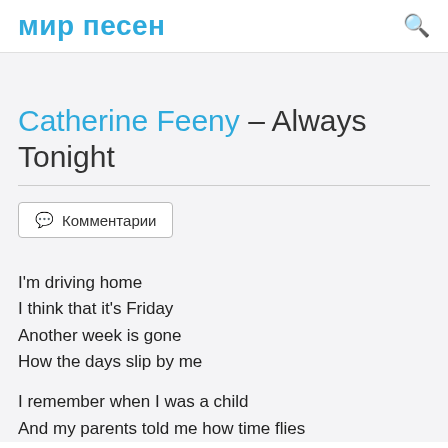мир песен
Catherine Feeny – Always Tonight
Комментарии
I'm driving home
I think that it's Friday
Another week is gone
How the days slip by me

I remember when I was a child
And my parents told me how time flies